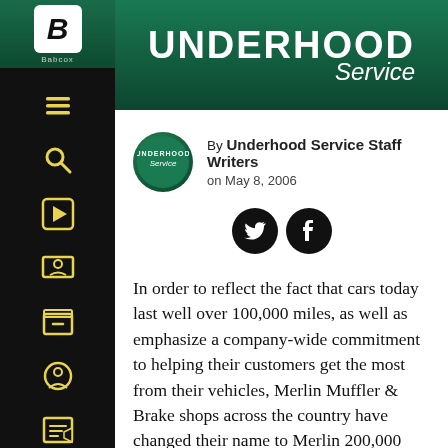UNDERHOOD Service
By Underhood Service Staff Writers on May 8, 2006
[Figure (logo): Twitter and Facebook social share buttons (black circles with white icons)]
In order to reflect the fact that cars today last well over 100,000 miles, as well as emphasize a company-wide commitment to helping their customers get the most from their vehicles, Merlin Muffler & Brake shops across the country have changed their name to Merlin 200,000 Mile Shops.